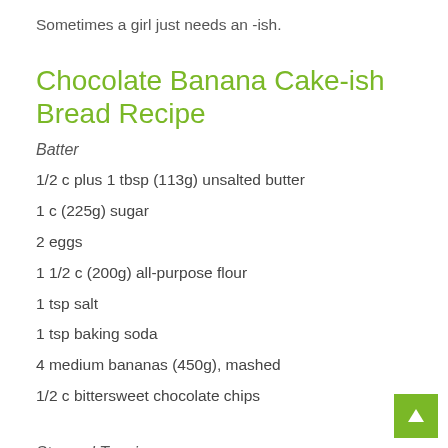Sometimes a girl just needs an -ish.
Chocolate Banana Cake-ish Bread Recipe
Batter
1/2 c plus 1 tbsp (113g) unsalted butter
1 c (225g) sugar
2 eggs
1 1/2 c (200g) all-purpose flour
1 tsp salt
1 tsp baking soda
4 medium bananas (450g), mashed
1/2 c bittersweet chocolate chips
Streusel Topping
3 1/2 tbsp (64g) brown sugar